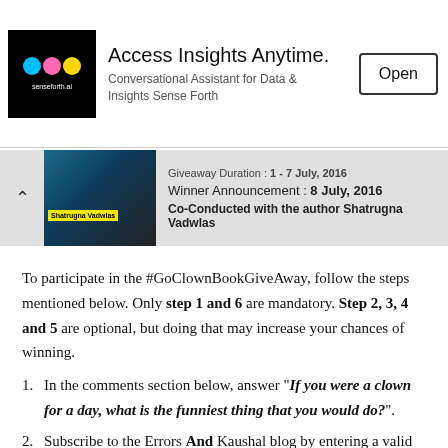[Figure (infographic): Ad banner for senseforth.ai showing logo with colored circles, headline 'Access Insights Anytime.', subtext 'Conversational Assistant for Data & Insights Sense Forth', and an 'Open' button.]
[Figure (infographic): Giveaway strip with book cover image labeled 'Shatrugna Vadwlas', showing giveaway duration '1 - 7 July, 2016', winner announcement '8 July, 2016', and 'Co-Conducted with the author Shatrugna Vadwlas'.]
To participate in the #GoClownBookGiveAway, follow the steps mentioned below. Only step 1 and 6 are mandatory. Step 2, 3, 4 and 5 are optional, but doing that may increase your chances of winning.
In the comments section below, answer "If you were a clown for a day, what is the funniest thing that you would do?".
Subscribe to the Errors And Kaushal blog by entering a valid email id in the subscription box placed in the right side column of the blog. After subscribing, please check your inbox for the verification email. Your subscription won't be counted valid unless you verify the subscription. If